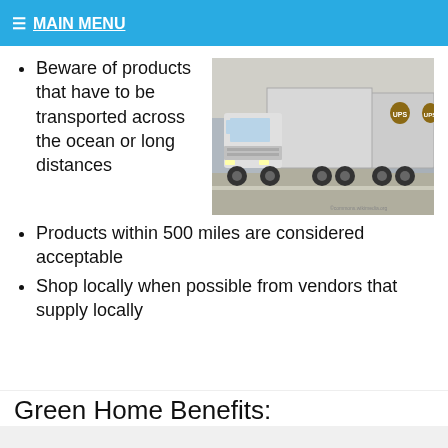≡ MAIN MENU
Beware of products that have to be transported across the ocean or long distances
[Figure (photo): A white UPS semi-truck tractor-trailer on a road, viewed from the front-left angle.]
Products within 500 miles are considered acceptable
Shop locally when possible from vendors that supply locally
Green Home Benefits: